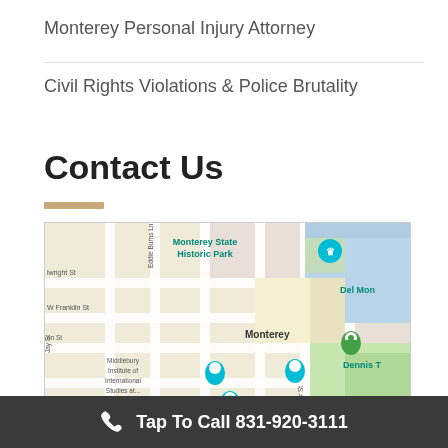Monterey Personal Injury Attorney
Civil Rights Violations & Police Brutality
Contact Us
[Figure (map): Google Maps screenshot showing Monterey, CA area with landmarks including Monterey State Historic Park, Middlebury Institute of International Studies, Monterey Museum of Art, Del Monte, Dennis T, and surrounding streets such as W Franklin St, Tyler St, Pearl St, Eddie Burns Ln.]
Tap To Call 831-920-3111